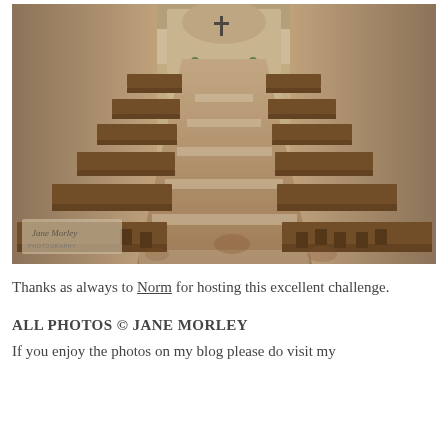[Figure (photo): Interior of a church with wooden pews and chairs arranged in rows on both sides of a central aisle, leading to an altar at the far end. Stone walls and tiled floor visible. Warm sepia/vintage tones. A watermark with a signature is visible in the lower left corner of the photo.]
Thanks as always to Norm for hosting this excellent challenge.
ALL PHOTOS © JANE MORLEY
If you enjoy the photos on my blog please do visit my